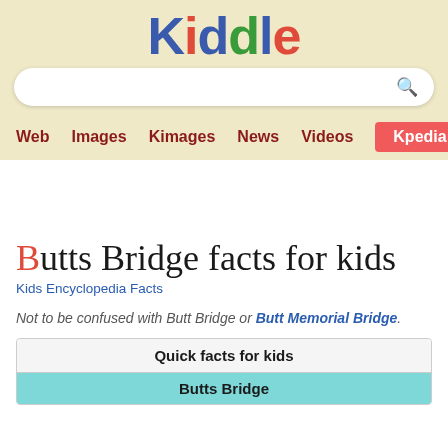Kiddle
[Figure (screenshot): Kiddle search bar with navigation tabs: Web, Images, Kimages, News, Videos, Kpedia]
Butts Bridge facts for kids
Kids Encyclopedia Facts
Not to be confused with Butt Bridge or Butt Memorial Bridge.
| Quick facts for kids |
| --- |
| Butts Bridge |